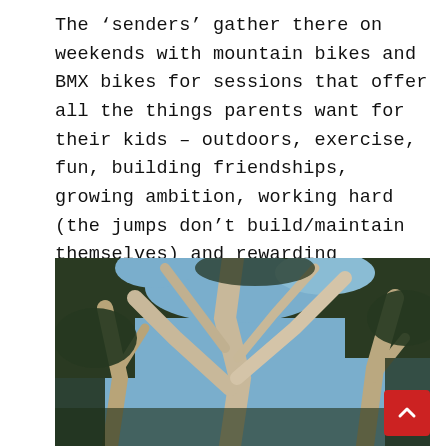The ‘senders’ gather there on weekends with mountain bikes and BMX bikes for sessions that offer all the things parents want for their kids – outdoors, exercise, fun, building friendships, growing ambition, working hard (the jumps don’t build/maintain themselves) and rewarding achievement.
[Figure (photo): Photograph of eucalyptus trees with pale smooth trunks and branches spreading against a blue sky with dark green foliage.]